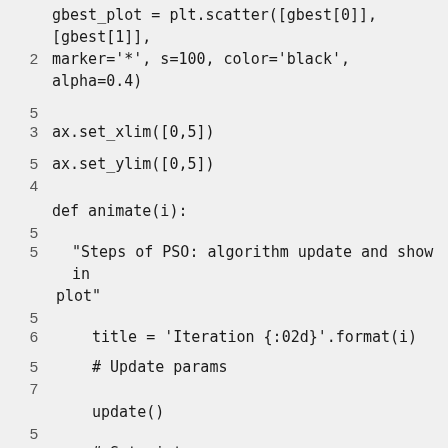52  gbest_plot = plt.scatter([gbest[0]], [gbest[1]], marker='*', s=100, color='black', alpha=0.4)
53  ax.set_xlim([0,5])
54  ax.set_ylim([0,5])
55  def animate(i):
55    "Steps of PSO: algorithm update and show in plot"
56      title = 'Iteration {:02d}'.format(i)
57      # Update params
update()
58      # Set picture
ax.set_title(title)